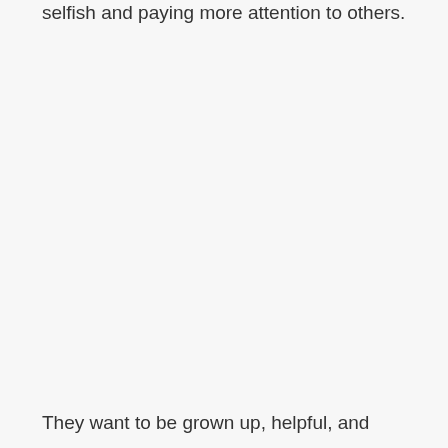selfish and paying more attention to others.
They want to be grown up, helpful, and